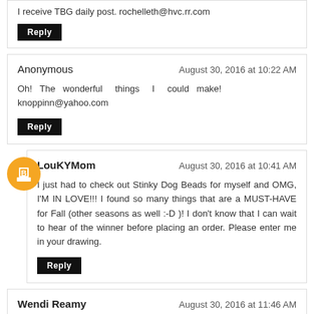I receive TBG daily post. rochelleth@hvc.rr.com
Reply
Anonymous — August 30, 2016 at 10:22 AM
Oh! The wonderful things I could make! knoppinn@yahoo.com
Reply
LouKYMom — August 30, 2016 at 10:41 AM
I just had to check out Stinky Dog Beads for myself and OMG, I'M IN LOVE!!! I found so many things that are a MUST-HAVE for Fall (other seasons as well :-D )! I don't know that I can wait to hear of the winner before placing an order. Please enter me in your drawing.
Reply
Wendi Reamy — August 30, 2016 at 11:46 AM
I haven't had an opportunity to order yet from Stinky Dog...